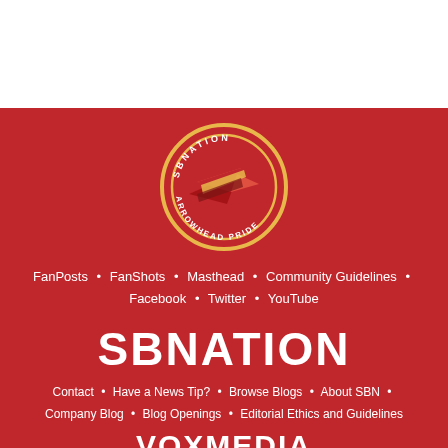[Figure (logo): Arrowhead Pride / SBNation circular logo with paper airplane graphic on red background with gold ring border]
FanPosts • FanShots • Masthead • Community Guidelines • Facebook • Twitter • YouTube
[Figure (logo): SBNATION wordmark in white bold uppercase letters]
Contact • Have a News Tip? • Browse Blogs • About SBN • Company Blog • Blog Openings • Editorial Ethics and Guidelines
[Figure (logo): VOXMEDIA wordmark in white bold uppercase letters]
Terms of Use • Privacy Notice • Cookie Policy •